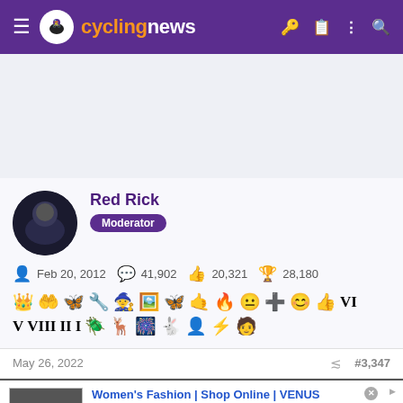cyclingnews
[Figure (screenshot): Ad placeholder area light purple/gray background]
Red Rick
Moderator
Feb 20, 2012  41,902  20,321  28,180
[Figure (infographic): User achievement badge icons row 1 and row 2]
May 26, 2022  #3,347
[Figure (screenshot): Ad: Women's Fashion | Shop Online | VENUS - Shop the best in women's fashion, clothing, swimwear - venus.com]